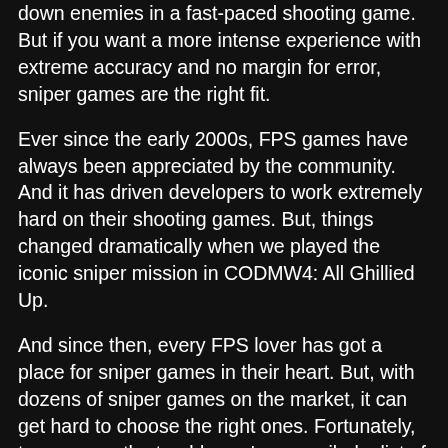down enemies in a fast-paced shooting game. But if you want a more intense experience with extreme accuracy and no margin for error, sniper games are the right fit.
Ever since the early 2000s, FPS games have always been appreciated by the community. And it has driven developers to work extremely hard on their shooting games. But, things changed dramatically when we played the iconic sniper mission in CODMW4: All Ghillied Up.
And since then, every FPS lover has got a place for sniper games in their heart. But, with dozens of sniper games on the market, it can get hard to choose the right ones. Fortunately, to save you the trouble, we've compiled a list of the best sniper games for PlayStation 4 and PC that you can play right away.